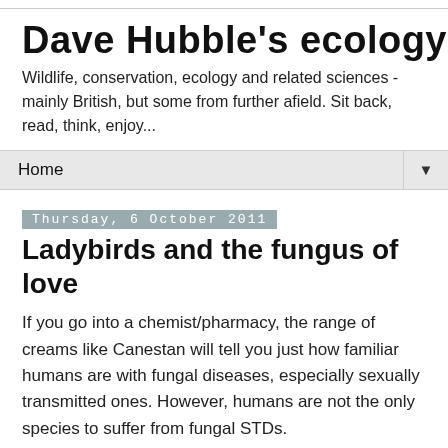Dave Hubble's ecology spot
Wildlife, conservation, ecology and related sciences - mainly British, but some from further afield. Sit back, read, think, enjoy...
Home ▼
Thursday, 6 October 2011
Ladybirds and the fungus of love
If you go into a chemist/pharmacy, the range of creams like Canestan will tell you just how familiar humans are with fungal diseases, especially sexually transmitted ones. However, humans are not the only species to suffer from fungal STDs.
One taxonomic group which is host to a fungal STD unfamiliar to most people is the beetle family Coccinellidae